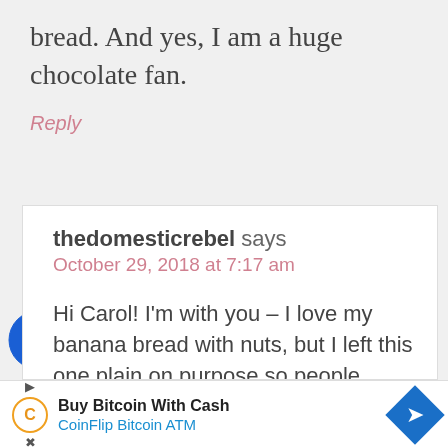bread. And yes, I am a huge chocolate fan.
Reply
thedomesticrebel says
October 29, 2018 at 7:17 am
Hi Carol! I'm with you – I love my banana bread with nuts, but I left this one plain on purpose so people could add in their favorite mix-ins!
[Figure (logo): Accessibility icon - blue circle with white stick figure person]
Buy Bitcoin With Cash
CoinFlip Bitcoin ATM